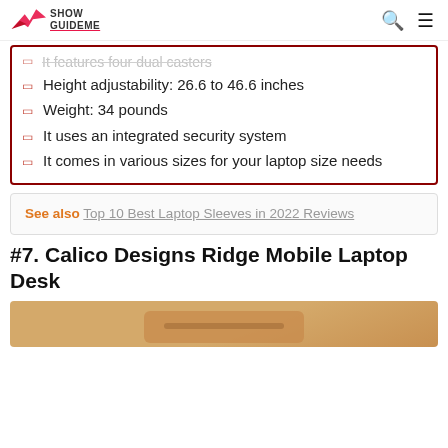Show GuideMe
It features four dual casters (partially visible/cut off)
Height adjustability: 26.6 to 46.6 inches
Weight: 34 pounds
It uses an integrated security system
It comes in various sizes for your laptop size needs
See also  Top 10 Best Laptop Sleeves in 2022 Reviews
#7. Calico Designs Ridge Mobile Laptop Desk
[Figure (photo): Partial product photo of Calico Designs Ridge Mobile Laptop Desk, tan/wood colored surface visible at bottom of page]